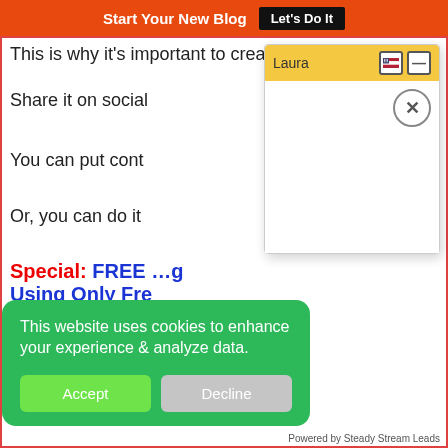Start Your New Blog  Let's Do It
This is why it's important to create content every day.
Share it on social
You can put cont
Or, you can do it
Special: FREE  ...g
Using Only Fre
Where do you lik
[Figure (screenshot): Chat widget popup with header 'Laura', flag icon button, minimize button, close (X) circle button, and white body area]
[Figure (screenshot): Cookie consent banner: 'This website uses cookies to enhance your experience & analyze data.' with Accept and Decline buttons]
Powered by Steady Stream Leads